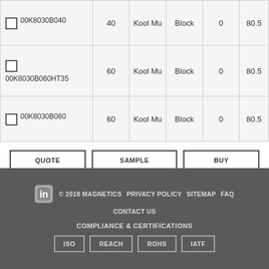| Part Number | Permeability | Material | Shape | DC Bias | 80.5... |
| --- | --- | --- | --- | --- | --- |
| 00K8030B040 | 40 | Kool Mu | Block | 0 | 80.5 |
| 00K8030B060HT35 | 60 | Kool Mu | Block | 0 | 80.5 |
| 00K8030B060 | 60 | Kool Mu | Block | 0 | 80.5 |
QUOTE
SAMPLE
BUY
DISTRIBUTOR INVENTORY
REFINE SEARCH
© 2018 MAGNETICS  PRIVACY POLICY  SITEMAP  FAQ  CONTACT US  COMPLIANCE & CERTIFICATIONS  ISO  REACH  ROHS  IATF